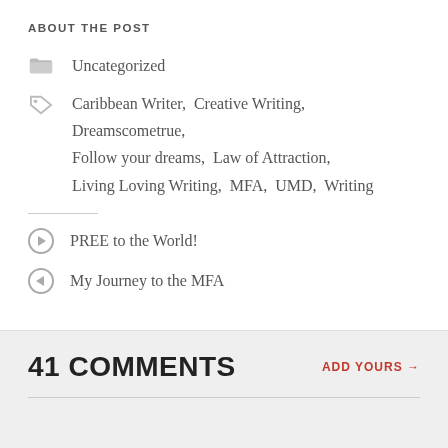ABOUT THE POST
Uncategorized
Caribbean Writer,  Creative Writing,  Dreamscometrue,  Follow your dreams,  Law of Attraction,  Living Loving Writing,  MFA,  UMD,  Writing
PREE to the World!
My Journey to the MFA
41 COMMENTS
ADD YOURS →